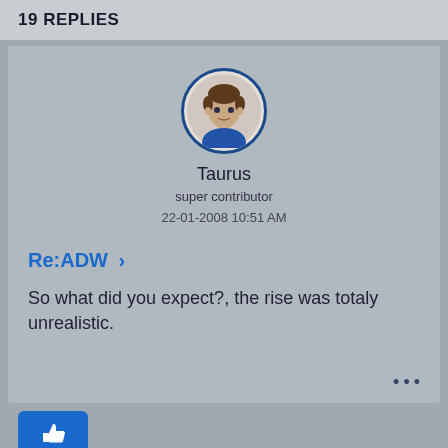19 REPLIES
[Figure (illustration): Circular avatar of a cartoon person with blue clothing, inside a blue-bordered circle]
Taurus
super contributor
22-01-2008 10:51 AM
Re:ADW >
So what did you expect?, the rise was totaly unrealistic.
[Figure (illustration): Blue thumbs-up like button]